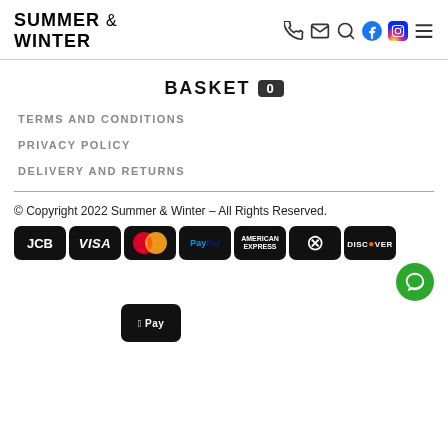SUMMER & WINTER
BASKET 0
TERMS AND CONDITIONS
PRIVACY POLICY
DELIVERY AND RETURNS
© Copyright 2022 Summer & Winter – All Rights Reserved.
[Figure (logo): Payment method logos: JCB, VISA, Mastercard, PayPal, American Express, Diners Club, Discover, Apple Pay]